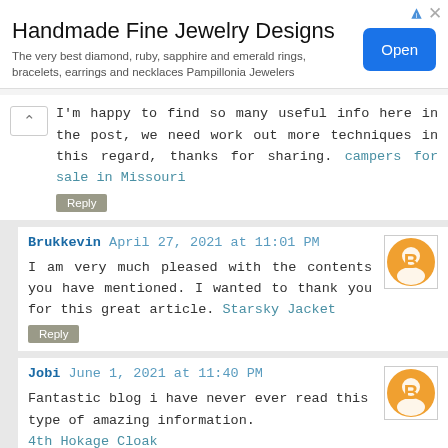[Figure (infographic): Advertisement banner for Handmade Fine Jewelry Designs — Pampillonia Jewelers with an Open button]
I'm happy to find so many useful info here in the post, we need work out more techniques in this regard, thanks for sharing. campers for sale in Missouri
Reply
Brukkevin April 27, 2021 at 11:01 PM
I am very much pleased with the contents you have mentioned. I wanted to thank you for this great article. Starsky Jacket
Reply
Jobi June 1, 2021 at 11:40 PM
Fantastic blog i have never ever read this type of amazing information. 4th Hokage Cloak
Reply